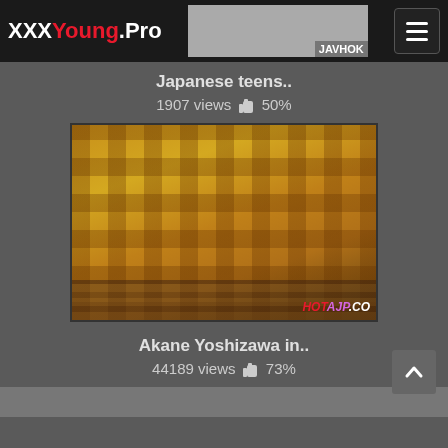XXXYoung.Pro
Japanese teens..
1907 views 👍 50%
[Figure (photo): Video thumbnail showing person in yellow plaid skirt, watermark HOTAJP.CO]
Akane Yoshizawa in..
44189 views 👍 73%